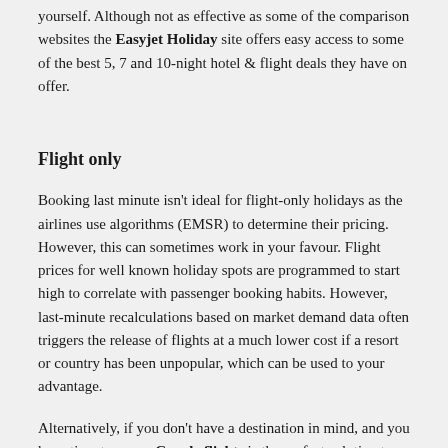yourself. Although not as effective as some of the comparison websites the Easyjet Holiday site offers easy access to some of the best 5, 7 and 10-night hotel & flight deals they have on offer.
Flight only
Booking last minute isn't ideal for flight-only holidays as the airlines use algorithms (EMSR) to determine their pricing. However, this can sometimes work in your favour. Flight prices for well known holiday spots are programmed to start high to correlate with passenger booking habits. However, last-minute recalculations based on market demand data often triggers the release of flights at a much lower cost if a resort or country has been unpopular, which can be used to your advantage.
Alternatively, if you don't have a destination in mind, and you have time to spare, Google flights is the perfect solution to find low-cost air travel.
BEST DEAL: British Airways – Berlin, Munich and Prague are